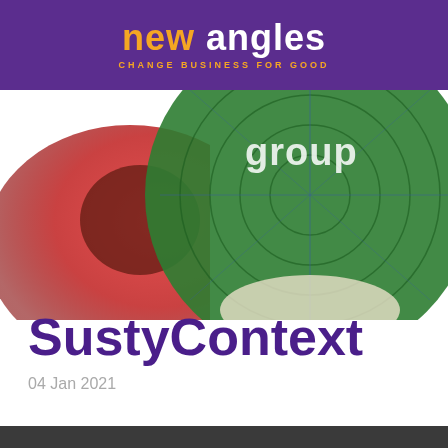[Figure (logo): New Angles logo with purple background, 'new' in orange and 'angles' in white bold text, tagline 'CHANGE BUSINESS FOR GOOD' in orange small caps]
[Figure (illustration): Partial globe/radar diagram showing green circular target-like graphic with red/dark section on left, and 'group' text partially visible, cropped at top of image area]
SustyContext
04 Jan 2021